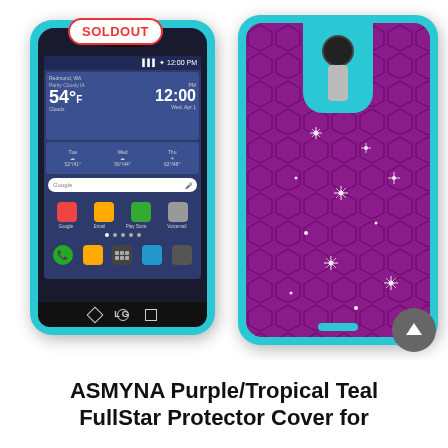[Figure (photo): Product photo showing two views of an LG smartphone with ASMYNA Purple/Tropical Teal FullStar Protector Cover case. Left phone shows the front with the screen displaying weather (54°F, 12:00, Wed Apr 1) and a 'SOLDOUT' badge overlaid in red. Right phone shows the back of the case — purple with teal trim and diamond/rhinestone studded pattern.]
ASMYNA Purple/Tropical Teal FullStar Protector Cover for